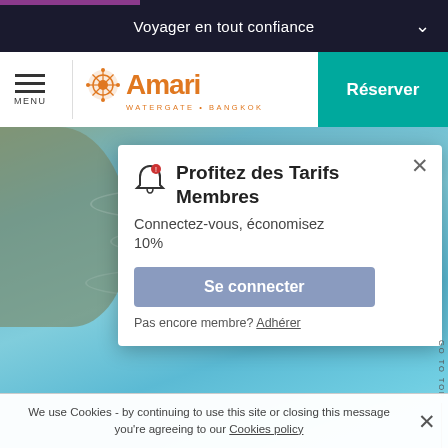Voyager en tout confiance
[Figure (screenshot): Amari Watergate Bangkok hotel website header with logo, menu icon, and Réserver button]
Profitez des Tarifs Membres
Connectez-vous, économisez 10%
Se connecter
Pas encore membre? Adhérer
We use Cookies - by continuing to use this site or closing this message you're agreeing to our Cookies policy